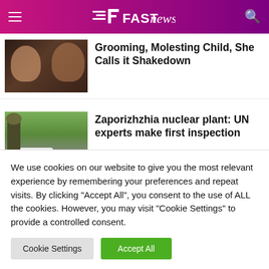FAST NEWS
Grooming, Molesting Child, She Calls it Shakedown
Zaporizhzhia nuclear plant: UN experts make first inspection
We use cookies on our website to give you the most relevant experience by remembering your preferences and repeat visits. By clicking "Accept All", you consent to the use of ALL the cookies. However, you may visit "Cookie Settings" to provide a controlled consent.
Cookie Settings | Accept All